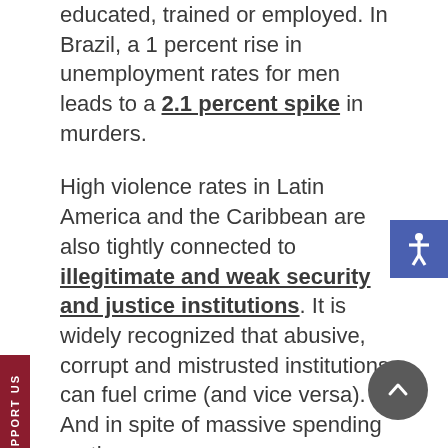educated, trained or employed. In Brazil, a 1 percent rise in unemployment rates for men leads to a 2.1 percent spike in murders.
High violence rates in Latin America and the Caribbean are also tightly connected to illegitimate and weak security and justice institutions. It is widely recognized that abusive, corrupt and mistrusted institutions can fuel crime (and vice versa). And in spite of massive spending on the